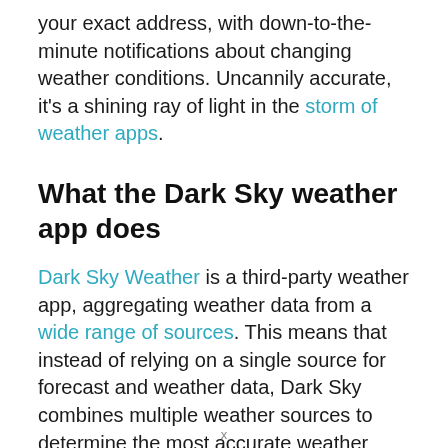your exact address, with down-to-the-minute notifications about changing weather conditions. Uncannily accurate, it's a shining ray of light in the storm of weather apps.
What the Dark Sky weather app does
Dark Sky Weather is a third-party weather app, aggregating weather data from a wide range of sources. This means that instead of relying on a single source for forecast and weather data, Dark Sky combines multiple weather sources to determine the most accurate weather prediction. It offers a handy “next hour” weather graph, a
x